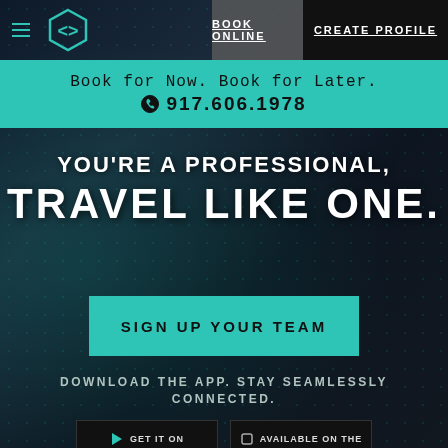[Figure (screenshot): Dark-themed car service website screenshot with teal accents, showing navigation bar with hexagon logo, BOOK ONLINE and CREATE PROFILE buttons, teal info banner, hero headline, sign up CTA button, and app download section.]
BOOK ONLINE  CREATE PROFILE
Book for Now. Book for Later.
☎ 917.606.1978
YOU'RE A PROFESSIONAL, TRAVEL LIKE ONE.
SIGN UP YOUR TEAM
DOWNLOAD THE APP. STAY SEAMLESSLY CONNECTED.
GET IT ON   Available on the